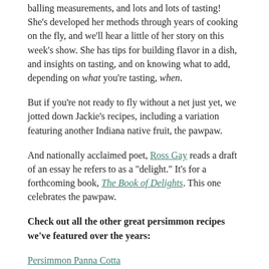balling measurements, and lots and lots of tasting! She's developed her methods through years of cooking on the fly, and we'll hear a little of her story on this week's show. She has tips for building flavor in a dish, and insights on tasting, and on knowing what to add, depending on what you're tasting, when.
But if you're not ready to fly without a net just yet, we jotted down Jackie's recipes, including a variation featuring another Indiana native fruit, the pawpaw.
And nationally acclaimed poet, Ross Gay reads a draft of an essay he refers to as a "delight." It's for a forthcoming book, The Book of Delights. This one celebrates the pawpaw.
Check out all the other great persimmon recipes we've featured over the years:
Persimmon Panna Cotta
Persimmon Pudding
Peppered Persimmon Donuts, with Persimmon Glaze